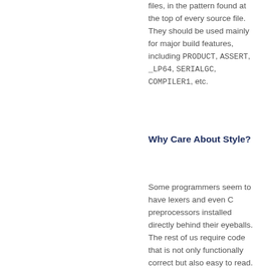files, in the pattern found at the top of every source file. They should be used mainly for major build features, including PRODUCT, ASSERT, _LP64, SERIALGC, COMPILER1, etc.
Why Care About Style?
Some programmers seem to have lexers and even C preprocessors installed directly behind their eyeballs. The rest of us require code that is not only functionally correct but also easy to read. More than that, since there is no one style for easy-to-read code,